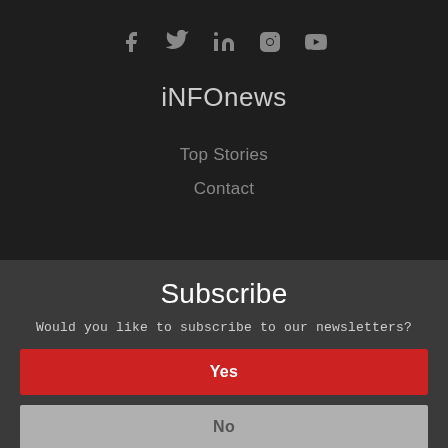[Figure (infographic): Social media icons row: Facebook, Twitter, LinkedIn, Instagram, YouTube]
iNFOnews
Top Stories
Contact
Subscribe
Would you like to subscribe to our newsletters?
Yes
No